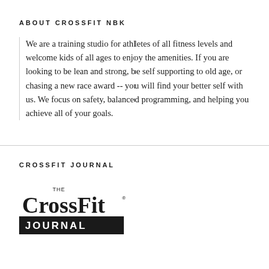ABOUT CROSSFIT NBK
We are a training studio for athletes of all fitness levels and welcome kids of all ages to enjoy the amenities. If you are looking to be lean and strong, be self supporting to old age, or chasing a new race award -- you will find your better self with us. We focus on safety, balanced programming, and helping you achieve all of your goals.
CROSSFIT JOURNAL
[Figure (logo): The CrossFit Journal logo — bold serif 'The CrossFit' text above black bar with 'JOURNAL' in white]